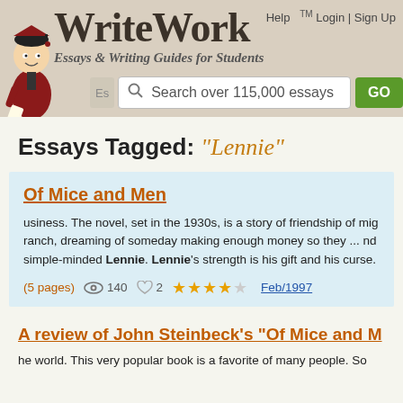WriteWork — Essays & Writing Guides for Students
Essays Tagged: "Lennie"
Of Mice and Men
usiness. The novel, set in the 1930s, is a story of friendship of mig ranch, dreaming of someday making enough money so they ... nd simple-minded Lennie. Lennie's strength is his gift and his curse.
(5 pages)  140   2   Feb/1997
A review of John Steinbeck's "Of Mice and M
he world. This very popular book is a favorite of many people. So